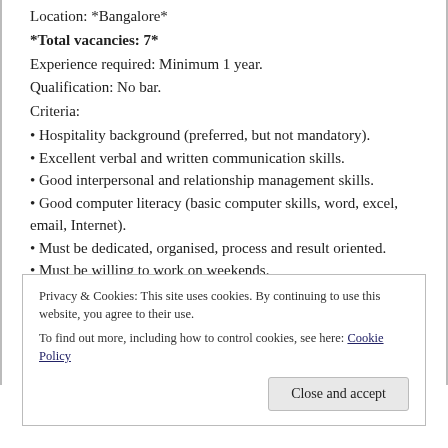Location: *Bangalore*
*Total vacancies: 7*
Experience required: Minimum 1 year.
Qualification: No bar.
Criteria:
• Hospitality background (preferred, but not mandatory).
• Excellent verbal and written communication skills.
• Good interpersonal and relationship management skills.
• Good computer literacy (basic computer skills, word, excel, email, Internet).
• Must be dedicated, organised, process and result oriented.
• Must be willing to work on weekends.
*Salary: Negotiable (Rs 12,000-18,000)*
Perks: Food and Accommodation.
Contract: 1 year.
*Kashmiris will be given preference*
Privacy & Cookies: This site uses cookies. By continuing to use this website, you agree to their use. To find out more, including how to control cookies, see here: Cookie Policy
Close and accept